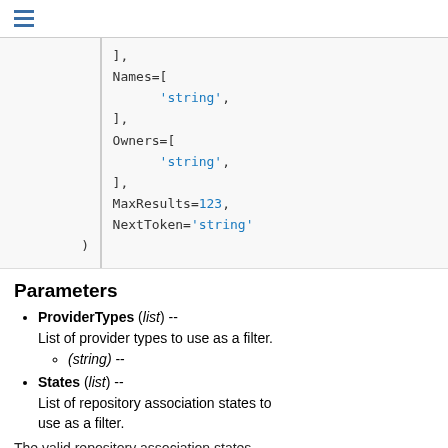],
Names=[
    'string',
],
Owners=[
    'string',
],
MaxResults=123,
NextToken='string'
)
Parameters
ProviderTypes (list) -- List of provider types to use as a filter.
(string) --
States (list) -- List of repository association states to use as a filter.
The valid repository association states